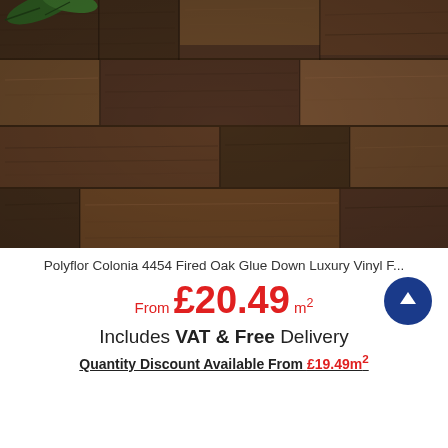[Figure (photo): Close-up photo of dark brown wood-effect vinyl flooring planks arranged in a staggered pattern, with a green plant leaf visible in the top-left corner.]
Polyflor Colonia 4454 Fired Oak Glue Down Luxury Vinyl F...
From £20.49 m²
Includes VAT & Free Delivery
Quantity Discount Available From £19.49m²